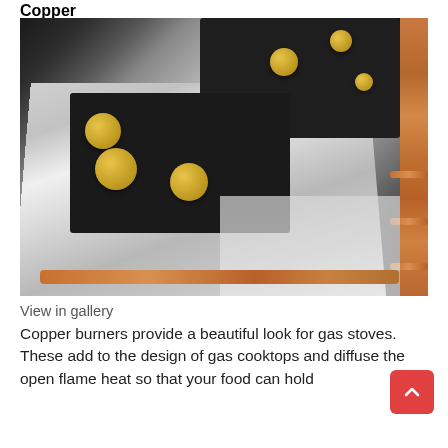Copper
[Figure (photo): A stainless steel gas cooktop with gold/brass burner grates and knobs, trimmed with copper pipes and rails on the sides, displayed on a white tile floor with dark background.]
View in gallery
Copper burners provide a beautiful look for gas stoves. These add to the design of gas cooktops and diffuse the open flame heat so that your food can hold